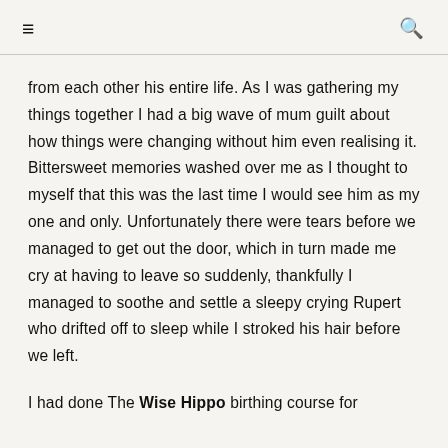≡  🔍
from each other his entire life. As I was gathering my things together I had a big wave of mum guilt about how things were changing without him even realising it. Bittersweet memories washed over me as I thought to myself that this was the last time I would see him as my one and only. Unfortunately there were tears before we managed to get out the door, which in turn made me cry at having to leave so suddenly, thankfully I managed to soothe and settle a sleepy crying Rupert who drifted off to sleep while I stroked his hair before we left.
I had done The Wise Hippo birthing course for